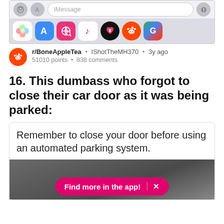[Figure (screenshot): iPhone app icons row showing Photos, App Store, a search icon, Music, a heart/app icon, Reddit, and Google Maps icons]
r/BoneAppleTea • IShotTheMH370 • 3y ago
51010 points • 838 comments
16. This dumbass who forgot to close their car door as it was being parked:
Remember to close your door before using an automated parking system.
[Figure (screenshot): Partial photo of automated parking system with a pink/magenta 'Find more in the app!' banner overlay with X close button]